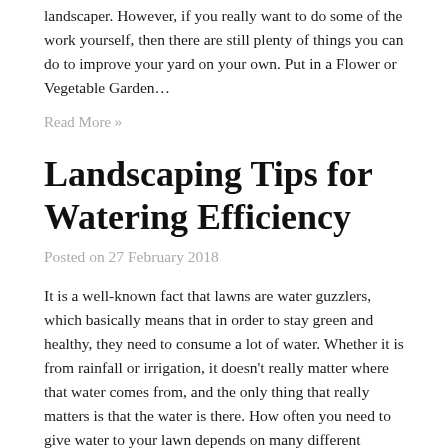landscaper. However, if you really want to do some of the work yourself, then there are still plenty of things you can do to improve your yard on your own. Put in a Flower or Vegetable Garden…
Read More »
Landscaping Tips for Watering Efficiency
Posted on 27 February 2018
It is a well-known fact that lawns are water guzzlers, which basically means that in order to stay green and healthy, they need to consume a lot of water. Whether it is from rainfall or irrigation, it doesn't really matter where that water comes from, and the only thing that really matters is that the water is there. How often you need to give water to your lawn depends on many different factors, such as regional climate, soil type, grass type, and sunlight….
Read More »